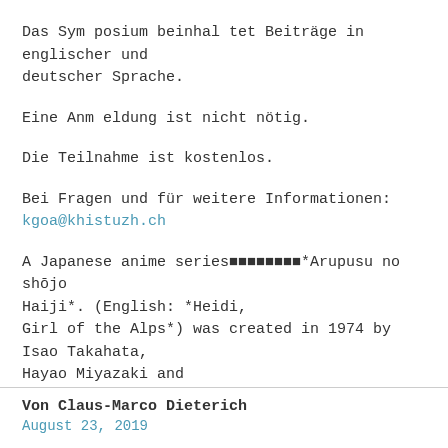Das Symposium beinhaltet Beiträge in englischer und deutscher Sprache.
Eine Anmeldung ist nicht nötig.
Die Teilnahme ist kostenlos.
Bei Fragen und für weitere Informationen:
kgoa@khistuzh.ch
A Japanese anime series■■■■■■■■*Arupusu no shōjo Haiji*. (English: *Heidi,
Girl of the Alps*) was created in 1974 by Isao Takahata, Hayao Miyazaki and
others and became an international hit during the
Von Claus-Marco Dieterich
August 23, 2019